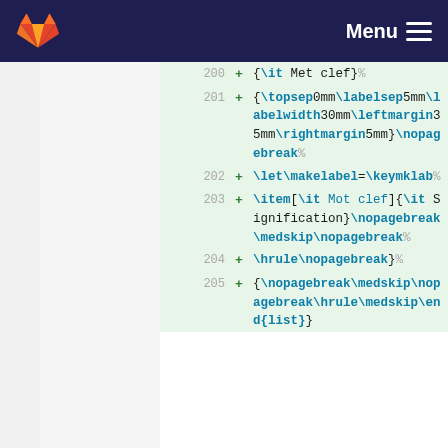GitLab Menu
200 + {\it Met clef}%
201 + {\topsep0mm\labelsep5mm\labelwidth30mm\leftmargin35mm\rightmargin5mm}\nopagebreak%
202 + \let\makelabel=\keymklab%
203 + \item[\it Mot clef]{\it Signification}\nopagebreak\medskip\nopagebreak%
204 + \hrule\nopagebreak}%
205 + {\nopagebreak\medskip\nopagebreak\hrule\medskip\end{list}}